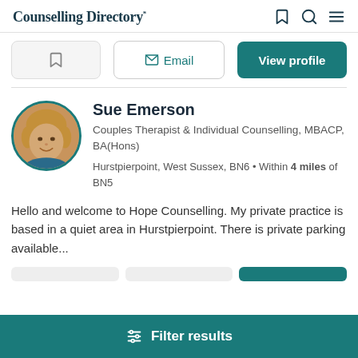Counselling Directory*
Email | View profile
Sue Emerson
Couples Therapist & Individual Counselling, MBACP, BA(Hons)
Hurstpierpoint, West Sussex, BN6 • Within 4 miles of BN5
Hello and welcome to Hope Counselling. My private practice is based in a quiet area in Hurstpierpoint. There is private parking available...
Filter results